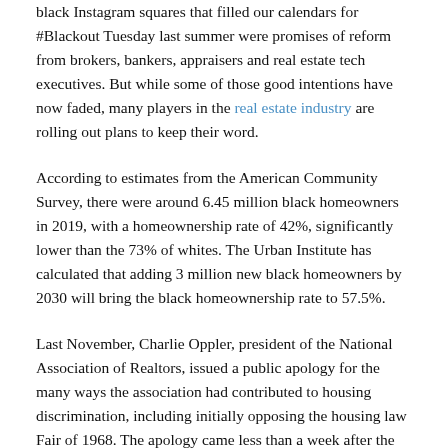black Instagram squares that filled our calendars for #Blackout Tuesday last summer were promises of reform from brokers, bankers, appraisers and real estate tech executives. But while some of those good intentions have now faded, many players in the real estate industry are rolling out plans to keep their word.
According to estimates from the American Community Survey, there were around 6.45 million black homeowners in 2019, with a homeownership rate of 42%, significantly lower than the 73% of whites. The Urban Institute has calculated that adding 3 million new black homeowners by 2030 will bring the black homeownership rate to 57.5%.
Last November, Charlie Oppler, president of the National Association of Realtors, issued a public apology for the many ways the association had contributed to housing discrimination, including initially opposing the housing law Fair of 1968. The apology came less than a week after the